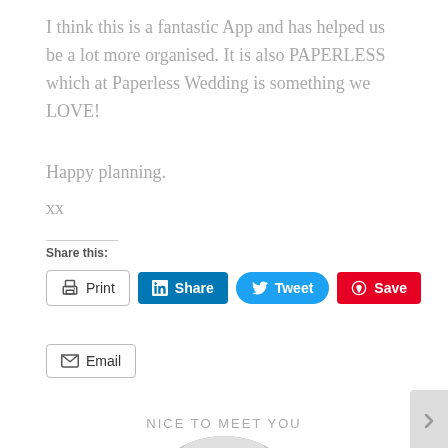I think this is a fantastic App and has helped us be a lot more organised. It is also PAPERLESS which at Paperless Wedding is something we LOVE!
Happy planning.
xx
Share this:
[Figure (screenshot): Social sharing buttons: Print, Share (LinkedIn), Tweet (Twitter), Save (Pinterest), Email]
NICE TO MEET YOU
[Figure (photo): Circular cropped black and white portrait photo of a person, partially visible at the bottom of the page]